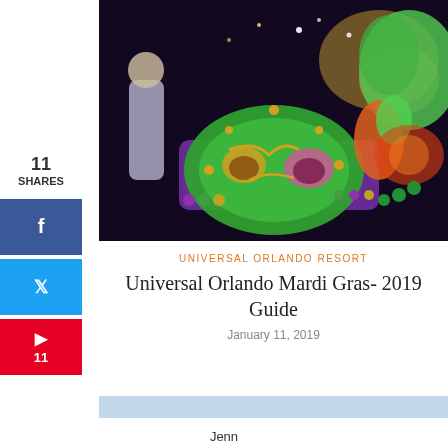[Figure (photo): Colorful Mardi Gras parade float at night featuring a large green and gold mask, performers in elaborate costumes with jester hats, purple float decorations, and bright beads and lights]
11
SHARES
[Figure (infographic): Facebook share button (blue)]
[Figure (infographic): Twitter share button (blue)]
[Figure (infographic): Pinterest save button (red) with count 11]
Universal Orlando Resort
Universal Orlando Mardi Gras- 2019 Guide
January 11, 2019
Jenn